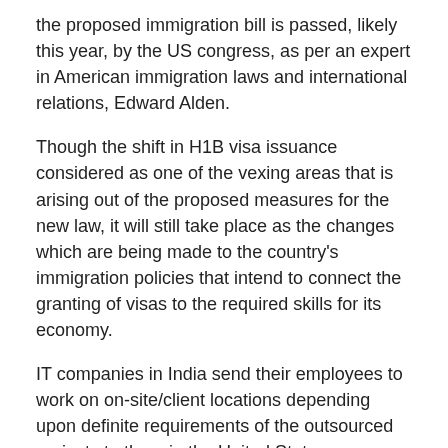the proposed immigration bill is passed, likely this year, by the US congress, as per an expert in American immigration laws and international relations, Edward Alden.
Though the shift in H1B visa issuance considered as one of the vexing areas that is arising out of the proposed measures for the new law, it will still take place as the changes which are being made to the country's immigration policies that intend to connect the granting of visas to the required skills for its economy.
IT companies in India send their employees to work on on-site/client locations depending upon definite requirements of the outsourced projects to them in the United States. Employees are sent on H1B visas to US to work at the client locations.
Most of the immigrants coming to the US to work at client place are from Asia and Latin America. However, the majority are family-based immigration, distinct from countries such as Canada, Australia that allow people with certain relevant skills to these countries, Senior Fellow of the Council of Foreign Relations, Bernard L Schwartz told in an interactive session.